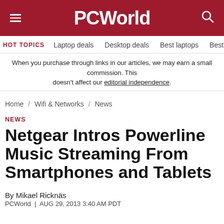PCWorld
HOT TOPICS  Laptop deals  Desktop deals  Best laptops  Best ch
When you purchase through links in our articles, we may earn a small commission. This doesn't affect our editorial independence.
Home / Wifi & Networks / News
NEWS
Netgear Intros Powerline Music Streaming From Smartphones and Tablets
By Mikael Ricknäs
PCWorld  |  AUG 29, 2013 3:40 AM PDT